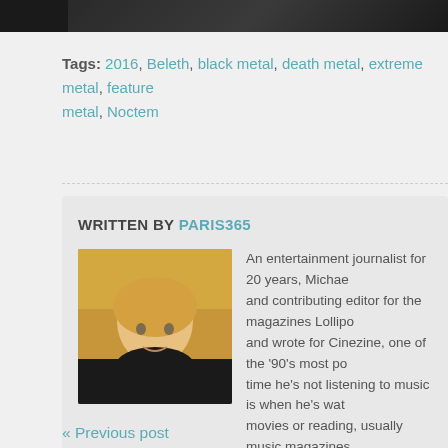[Figure (photo): Dark banner image at the top of the page]
Tags: 2016, Beleth, black metal, death metal, extreme metal, feature metal, Noctem
WRITTEN BY PARIS365
[Figure (photo): Profile photo of author Paris365, a person with blonde/yellow hair wearing a dark shirt]
An entertainment journalist for 20 years, Michael and contributing editor for the magazines Lollipo and wrote for Cinezine, one of the '90's most po time he's not listening to music is when he's wat movies or reading, usually music magazines.
View all posts by: Paris365
« Previous post